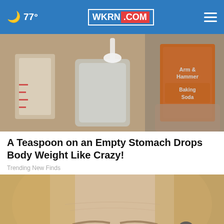🌙 77° | WKRN.COM
[Figure (photo): Photo of hands pouring baking soda from an Arm & Hammer box into a glass jar, with a measuring cup visible on the left]
A Teaspoon on an Empty Stomach Drops Body Weight Like Crazy!
Trending New Finds
[Figure (photo): Close-up photo of a woman's forehead/face with blonde hair, partially obscured by an advertisement overlay for La-Z-Boy Labor Day Sale]
LA Z BOY LABOR DAY SALE SHOP NOW 25% STOREWIDE 48 MONTHS SPECIAL FINANCING